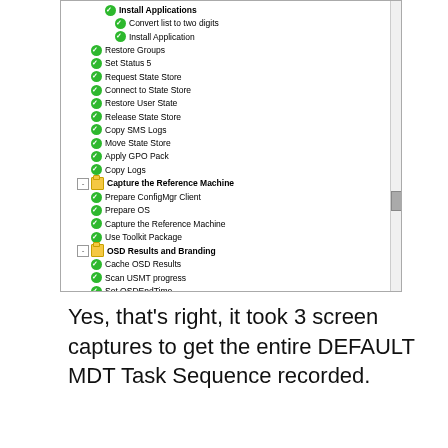[Figure (screenshot): Screenshot of a Windows MDT Task Sequence tree showing groups: Install Applications (Convert list to two digits, Install Application), Restore Groups, Set Status 5, Request State Store, Connect to State Store, Restore User State, Release State Store, Copy SMS Logs, Move State Store, Apply GPO Pack, Copy Logs; Capture the Reference Machine (Prepare ConfigMgr Client, Prepare OS, Capture the Reference Machine, Use Toolkit Package); OSD Results and Branding (Cache OSD Results, Scan USMT progress, Set OSDEndTime, Parse Base Variable, Branding to Reg, Branding to Reg x64, Echo GUID, Scan Installed Apps, Run OSD Results, Restart Computer); Report done; Cancelled Wizard Group (Set Error Code, Error Timeout Dialog, Echo GUID, User Cancelled Wizard); Gather Logs and StateStore on Failure (Set Error Code, Use Toolkit Package, Gather, Move State Store, Copy Logs, Error in the task sequence)]
Yes, that's right, it took 3 screen captures to get the entire DEFAULT MDT Task Sequence recorded.